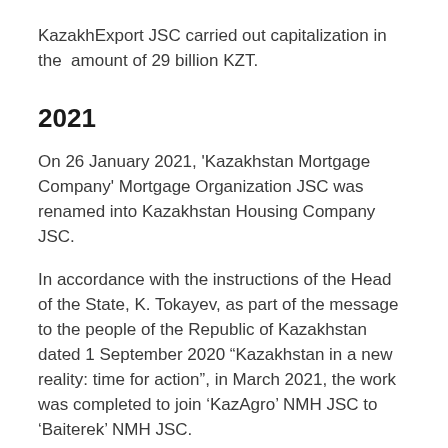KazakhExport JSC carried out capitalization in the amount of 29 billion KZT.
2021
On 26 January 2021, 'Kazakhstan Mortgage Company' Mortgage Organization JSC was renamed into Kazakhstan Housing Company JSC.
In accordance with the instructions of the Head of the State, K. Tokayev, as part of the message to the people of the Republic of Kazakhstan dated 1 September 2020 “Kazakhstan in a new reality: time for action”, in March 2021, the work was completed to join ‘KazAgro’ NMH JSC to ‘Baiterek’ NMH JSC.